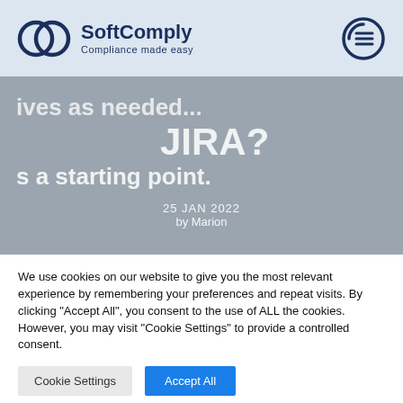SoftComply — Compliance made easy
...ives as needed... JIRA? ...s a starting point.
25 JAN 2022
by Marion
We use cookies on our website to give you the most relevant experience by remembering your preferences and repeat visits. By clicking "Accept All", you consent to the use of ALL the cookies. However, you may visit "Cookie Settings" to provide a controlled consent.